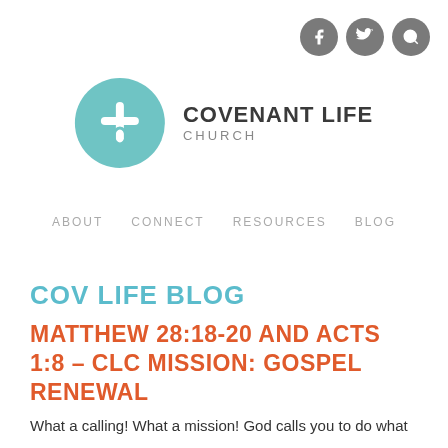[Figure (logo): Covenant Life Church logo: teal circle with cross icon on left, bold text COVENANT LIFE with CHURCH subtitle on right]
ABOUT   CONNECT   RESOURCES   BLOG
COV LIFE BLOG
MATTHEW 28:18-20 AND ACTS 1:8 – CLC MISSION: GOSPEL RENEWAL
What a calling! What a mission! God calls you to do what only he can do, and what he has chosen not to do without